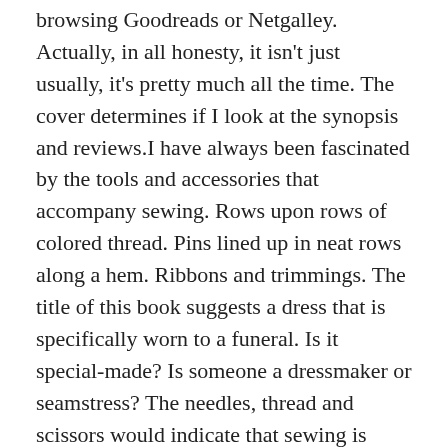browsing Goodreads or Netgalley. Actually, in all honesty, it isn't just usually, it's pretty much all the time. The cover determines if I look at the synopsis and reviews.I have always been fascinated by the tools and accessories that accompany sewing. Rows upon rows of colored thread. Pins lined up in neat rows along a hem. Ribbons and trimmings. The title of this book suggests a dress that is specifically worn to a funeral. Is it special-made? Is someone a dressmaker or seamstress? The needles, thread and scissors would indicate that sewing is involved, but how? What about you? Any book covers capture your attention this week?Cover Crush is a weekly series that originated with Erin at Flashlight Commentary. If you want to check out some other terrific bloggers and what their Cover Crush posts look like, you can do that here: The Maiden's Court, Flashlight Commentary, A Bookaholic Swede, Layered Pages, indieBRAG, A Literary Vacation ©Holly B. of 2 Kids and Tired Books 2007